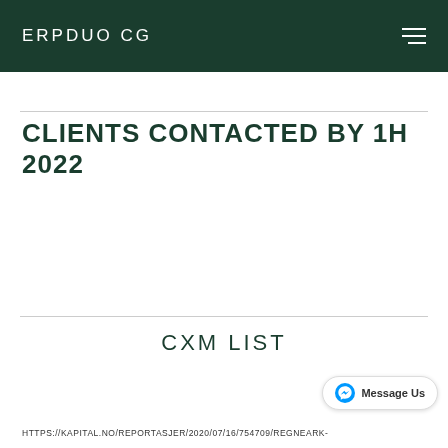ERPDUO CG
CLIENTS CONTACTED BY 1H 2022
CXM LIST
HTTPS://KAPITAL.NO/REPORTASJER/2020/07/16/754709/REGNEARK-